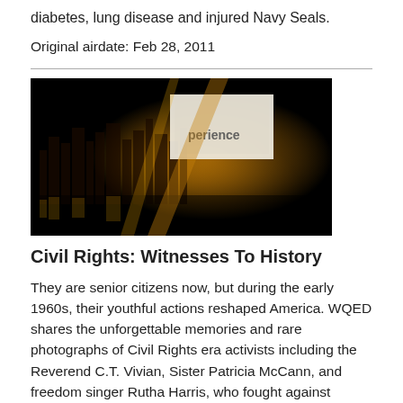diabetes, lung disease and injured Navy Seals.
Original airdate: Feb 28, 2011
[Figure (photo): Thumbnail image with golden/orange tones showing a cityscape silhouette and the word 'perience' visible, likely part of 'Experience', on a black and gold background]
Civil Rights: Witnesses To History
They are senior citizens now, but during the early 1960s, their youthful actions reshaped America. WQED shares the unforgettable memories and rare photographs of Civil Rights era activists including the Reverend C.T. Vivian, Sister Patricia McCann, and freedom singer Rutha Harris, who fought against segregation and for African-Americans' right to vote.
Original airdate: Feb 21, 2011